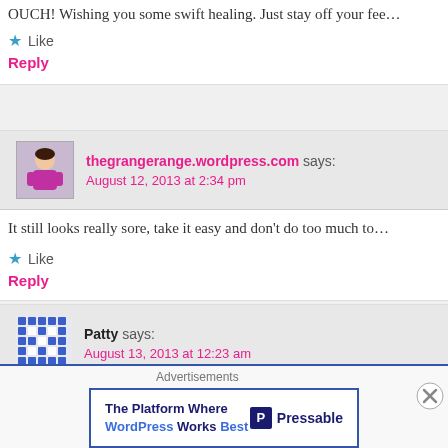OUCH! Wishing you some swift healing. Just stay off your fee…
★ Like
Reply
thegrangerange.wordpress.com says:
August 12, 2013 at 2:34 pm
It still looks really sore, take it easy and don't do too much to…
★ Like
Reply
Patty says:
August 13, 2013 at 12:23 am
Two words. Arnica and China Gel. Except that is three words…
Advertisements
[Figure (screenshot): Pressable advertisement banner: 'The Platform Where WordPress Works Best']